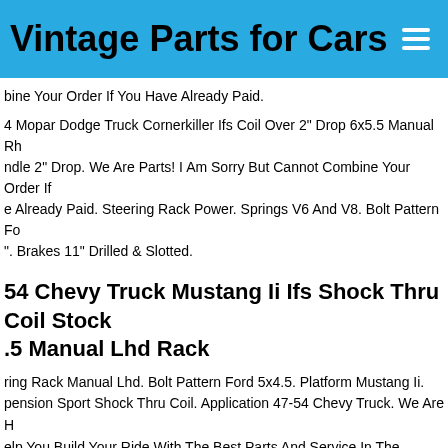Vintage Parts for Cars
bine Your Order If You Have Already Paid.
4 Mopar Dodge Truck Cornerkiller Ifs Coil Over 2" Drop 6x5.5 Manual Rh ndle 2" Drop. We Are Parts! I Am Sorry But Cannot Combine Your Order If e Already Paid. Steering Rack Power. Springs V6 And V8. Bolt Pattern Fo ". Brakes 11" Drilled & Slotted.
54 Chevy Truck Mustang Ii Ifs Shock Thru Coil Stock .5 Manual Lhd Rack
ring Rack Manual Lhd. Bolt Pattern Ford 5x4.5. Platform Mustang Ii. pension Sport Shock Thru Coil. Application 47-54 Chevy Truck. We Are H elp You Build Your Ride With The Best Parts And Service In The Industry
Dodge Motor Ed6 2017 71.514 Km. A 1-year Guarantee Insurance From Ag Is Included In The Price. The Guarantee Insurance Applies To Vehicl d Both Privately And Commercially (except For Taxis, Rental Cars, Drivin